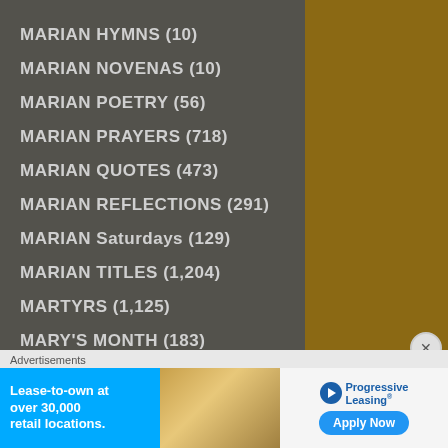MARIAN HYMNS (10)
MARIAN NOVENAS (10)
MARIAN POETRY (56)
MARIAN PRAYERS (718)
MARIAN QUOTES (473)
MARIAN REFLECTIONS (291)
MARIAN Saturdays (129)
MARIAN TITLES (1,204)
MARTYRS (1,125)
MARY'S MONTH (183)
MARY MATER ECCLESIAE (22)
Advertisements
Lease-to-own at over 30,000 retail locations.
Progressive Leasing Apply Now